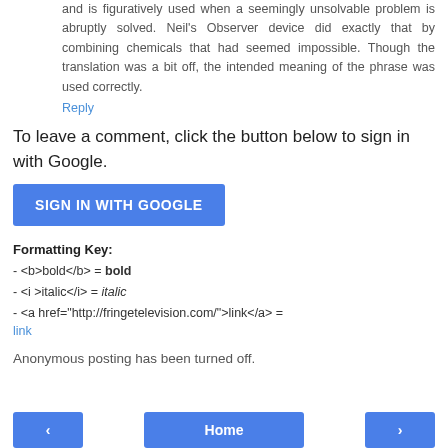and is figuratively used when a seemingly unsolvable problem is abruptly solved. Neil's Observer device did exactly that by combining chemicals that had seemed impossible. Though the translation was a bit off, the intended meaning of the phrase was used correctly.
Reply
To leave a comment, click the button below to sign in with Google.
SIGN IN WITH GOOGLE
Formatting Key:
- <b>bold</b> = bold
- <i >italic</i> = italic
- <a href="http://fringetelevision.com/">link</a> = link
Anonymous posting has been turned off.
< Home >